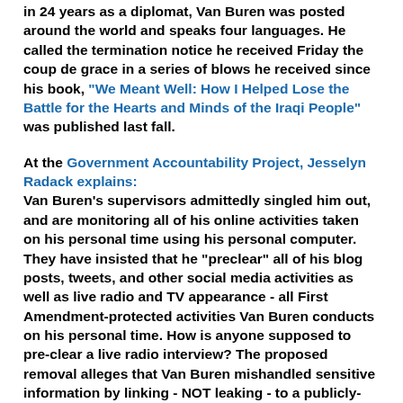in 24 years as a diplomat, Van Buren was posted around the world and speaks four languages. He called the termination notice he received Friday the coup de grace in a series of blows he received since his book, "We Meant Well: How I Helped Lose the Battle for the Hearts and Minds of the Iraqi People" was published last fall.
At the Government Accountability Project, Jesselyn Radack explains: Van Buren's supervisors admittedly singled him out, and are monitoring all of his online activities taken on his personal time using his personal computer. They have insisted that he "preclear" all of his blog posts, tweets, and other social media activities as well as live radio and TV appearance - all First Amendment-protected activities Van Buren conducts on his personal time. How is anyone supposed to pre-clear a live radio interview? The proposed removal alleges that Van Buren mishandled sensitive information by linking - NOT leaking - to a publicly-available Wikileaks document on his blog, which contains a disclaimer that Van Buren is writing in his personal capacity and that the State Department does not endorse his views.